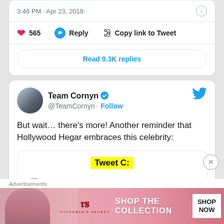3:46 PM · Apr 23, 2019
565  Reply  Copy link to Tweet
Read 9.3K replies
Team Cornyn @TeamCornyn · Follow
But wait… there's more! Another reminder that Hollywood Hegar embraces this celebrity:
[Figure (screenshot): Nested tweet screenshot showing Tweet C label (yellow highlight) and Patton Oswalt @pattonoswalt with Follow button]
Advertisements
[Figure (photo): Victoria's Secret advertisement banner with model, VS logo, SHOP THE COLLECTION text, and SHOP NOW button]